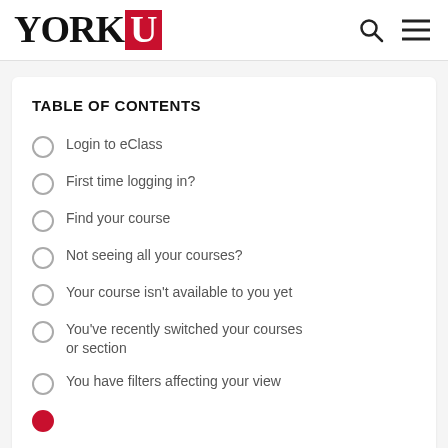[Figure (logo): York University logo — YORK in serif black, U in white on red box]
TABLE OF CONTENTS
Login to eClass
First time logging in?
Find your course
Not seeing all your courses?
Your course isn't available to you yet
You've recently switched your courses or section
You have filters affecting your view
(partially visible — cut off at bottom)